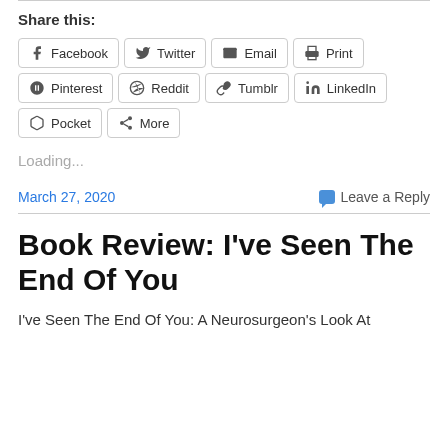Share this:
Facebook | Twitter | Email | Print | Pinterest | Reddit | Tumblr | LinkedIn | Pocket | More
Loading...
March 27, 2020
Leave a Reply
Book Review: I’ve Seen The End Of You
I’ve Seen The End Of You:  A Neurosurgeon’s Look At